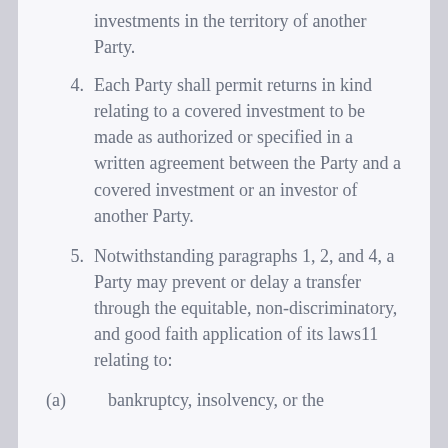investments in the territory of another Party.
4. Each Party shall permit returns in kind relating to a covered investment to be made as authorized or specified in a written agreement between the Party and a covered investment or an investor of another Party.
5. Notwithstanding paragraphs 1, 2, and 4, a Party may prevent or delay a transfer through the equitable, non-discriminatory, and good faith application of its laws11 relating to:
(a)    bankruptcy, insolvency, or the